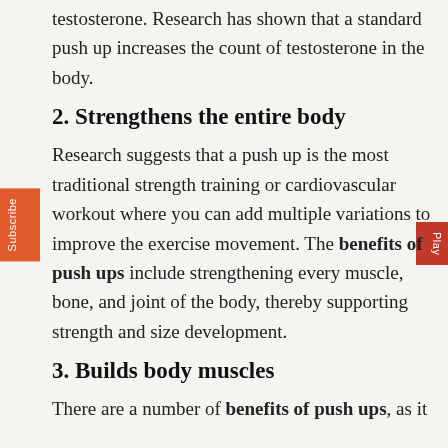testosterone. Research has shown that a standard push up increases the count of testosterone in the body.
2. Strengthens the entire body
Research suggests that a push up is the most traditional strength training or cardiovascular workout where you can add multiple variations to improve the exercise movement. The benefits of push ups include strengthening every muscle, bone, and joint of the body, thereby supporting strength and size development.
3. Builds body muscles
There are a number of benefits of push ups, as it